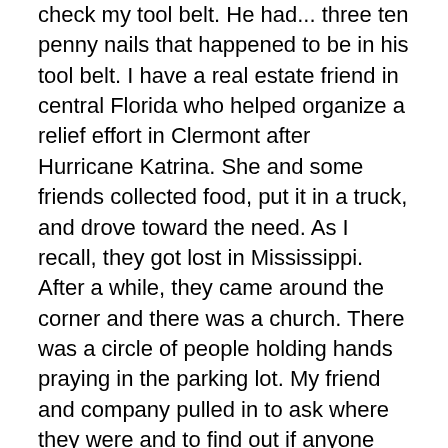check my tool belt. He had... three ten penny nails that happened to be in his tool belt. I have a real estate friend in central Florida who helped organize a relief effort in Clermont after Hurricane Katrina. She and some friends collected food, put it in a truck, and drove toward the need. As I recall, they got lost in Mississippi. After a while, they came around the corner and there was a church. There was a circle of people holding hands praying in the parking lot. My friend and company pulled in to ask where they were and to find out if anyone needed food. The people at the church said, “We just ran out and we were praying that God would send us some more food to distribute.” Yep. You gotta go Out!
Part of the reason for this is that God loves the world. He has a heart for those in need – and not just physical needs.  When God meets a physical need through us, it